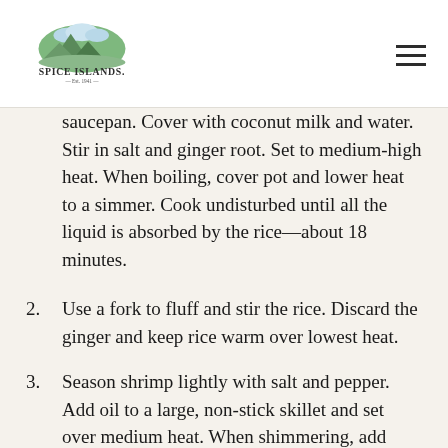Spice Islands — Est. 1941
saucepan. Cover with coconut milk and water. Stir in salt and ginger root. Set to medium-high heat. When boiling, cover pot and lower heat to a simmer. Cook undisturbed until all the liquid is absorbed by the rice—about 18 minutes.
2. Use a fork to fluff and stir the rice. Discard the ginger and keep rice warm over lowest heat.
3. Season shrimp lightly with salt and pepper. Add oil to a large, non-stick skillet and set over medium heat. When shimmering, add mustard seeds, cinnamon stick and pepper. Stir until